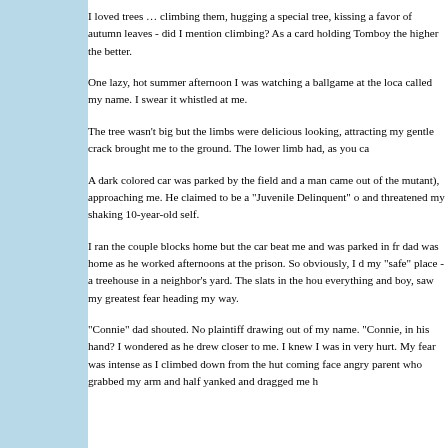I loved trees … climbing them, hugging a special tree, kissing a favor of autumn leaves - did I mention climbing? As a card holding Tomboy the higher the better.
One lazy, hot summer afternoon I was watching a ballgame at the loca called my name. I swear it whistled at me.
The tree wasn't big but the limbs were delicious looking, attracting my gentle crack brought me to the ground. The lower limb had, as you ca
A dark colored car was parked by the field and a man came out of the mutant), approaching me. He claimed to be a "Juvenile Delinquent" o and threatened my shaking 10-year-old self.
I ran the couple blocks home but the car beat me and was parked in fr dad was home as he worked afternoons at the prison. So obviously, I d my "safe" place - a treehouse in a neighbor's yard. The slats in the hou everything and boy, saw my greatest fear heading my way.
"Connie" dad shouted. No plaintiff drawing out of my name. "Connie, in his hand? I wondered as he drew closer to me. I knew I was in very hurt. My fear was intense as I climbed down from the hut coming face angry parent who grabbed my arm and half yanked and dragged me h